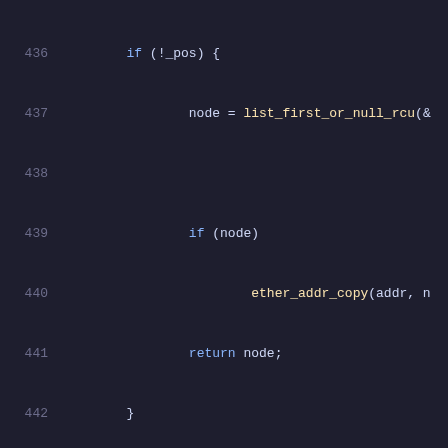Code listing lines 436-456 showing C function body with if(!_pos) block, node assignment, list_for_each_entry_continue_rcu loop, return NULL, closing brace, and int hsr_get_node_data function signature